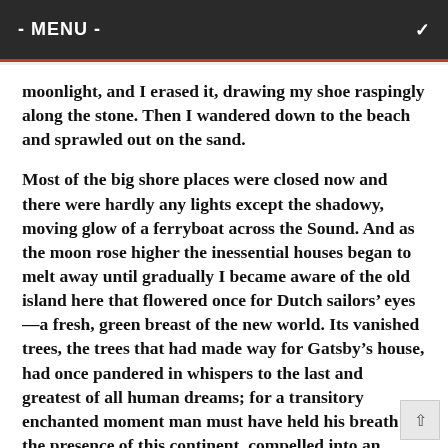- MENU -
moonlight, and I erased it, drawing my shoe raspingly along the stone. Then I wandered down to the beach and sprawled out on the sand.
Most of the big shore places were closed now and there were hardly any lights except the shadowy, moving glow of a ferryboat across the Sound. And as the moon rose higher the inessential houses began to melt away until gradually I became aware of the old island here that flowered once for Dutch sailors’ eyes—a fresh, green breast of the new world. Its vanished trees, the trees that had made way for Gatsby’s house, had once pandered in whispers to the last and greatest of all human dreams; for a transitory enchanted moment man must have held his breath in the presence of this continent, compelled into an